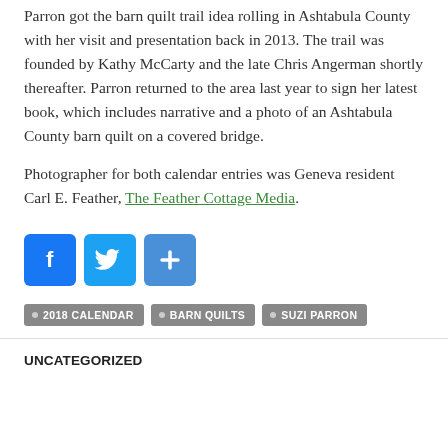Parron got the barn quilt trail idea rolling in Ashtabula County with her visit and presentation back in 2013. The trail was founded by Kathy McCarty and the late Chris Angerman shortly thereafter. Parron returned to the area last year to sign her latest book, which includes narrative and a photo of an Ashtabula County barn quilt on a covered bridge.
Photographer for both calendar entries was Geneva resident Carl E. Feather, The Feather Cottage Media.
[Figure (infographic): Three social media share buttons: Facebook (blue with F icon), Twitter (blue with bird icon), and a plus/share button (blue with + icon)]
2018 CALENDAR
BARN QUILTS
SUZI PARRON
UNCATEGORIZED